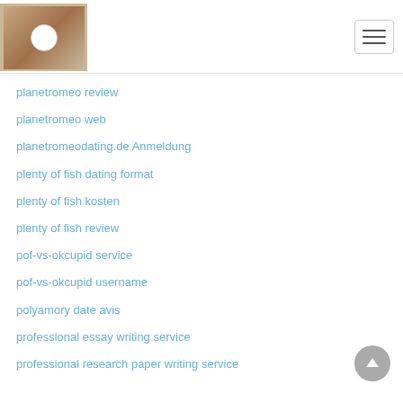website header with logo and hamburger menu
planetromeo review
planetromeo web
planetromeodating.de Anmeldung
plenty of fish dating format
plenty of fish kosten
plenty of fish review
pof-vs-okcupid service
pof-vs-okcupid username
polyamory date avis
professional essay writing service
professional research paper writing service